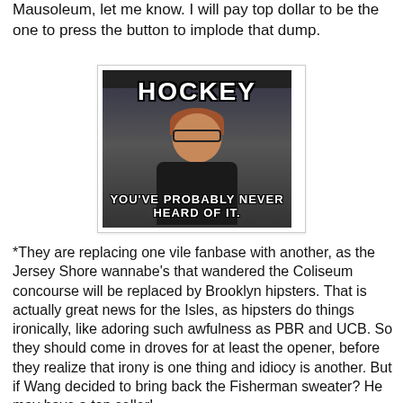Mausoleum, let me know. I will pay top dollar to be the one to press the button to implode that dump.
[Figure (photo): Internet meme image of a hipster-looking man with glasses, red beard, and black clothes with arms crossed. Top text: 'HOCKEY', bottom text: 'YOU'VE PROBABLY NEVER HEARD OF IT.']
*They are replacing one vile fanbase with another, as the Jersey Shore wannabe's that wandered the Coliseum concourse will be replaced by Brooklyn hipsters. That is actually great news for the Isles, as hipsters do things ironically, like adoring such awfulness as PBR and UCB. So they should come in droves for at least the opener, before they realize that irony is one thing and idiocy is another. But if Wang decided to bring back the Fisherman sweater? He may have a top seller!